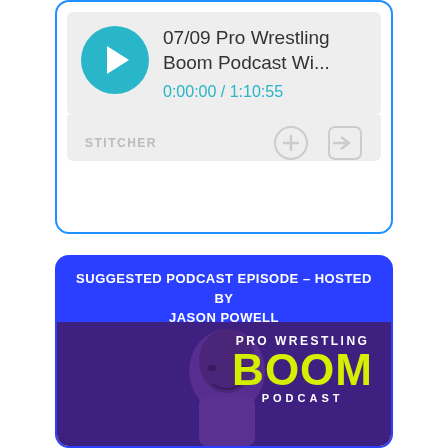[Figure (screenshot): Stitcher podcast player showing episode '07/09 Pro Wrestling Boom Podcast Wi...' with time 0:00:00 / 1:10:55, play button, add and share icons]
SUGGESTED PODCAST EPISODE – HOSTED BY JASON POWELL
[Figure (screenshot): Pro Wrestling Boom Podcast banner with purple background, host face silhouette, white 'PRO WRESTLING' text, yellow 'BOOM' text, white 'PODCAST' text]